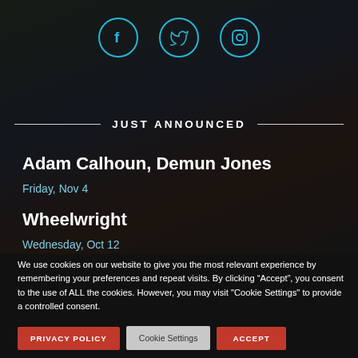[Figure (illustration): Social media icons: Facebook, Twitter, Instagram — circular outlined icons in cyan/teal color on dark background]
JUST ANNOUNCED
Adam Calhoun, Demun Jones
Friday, Nov 4
Wheelwright
Wednesday, Oct 12
We use cookies on our website to give you the most relevant experience by remembering your preferences and repeat visits. By clicking “Accept”, you consent to the use of ALL the cookies. However, you may visit "Cookie Settings" to provide a controlled consent.
PRIVACY POLICY
Cookie Settings
ACCEPT